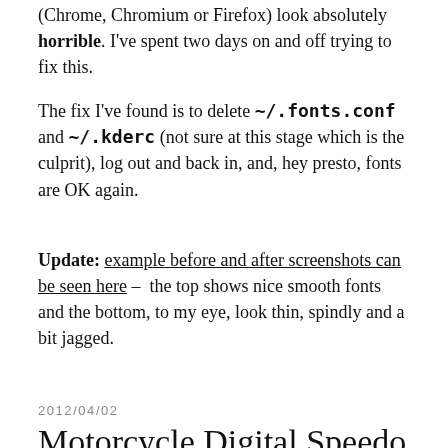(Chrome, Chromium or Firefox) look absolutely horrible. I've spent two days on and off trying to fix this.
The fix I've found is to delete ~/.fonts.conf and ~/.kderc (not sure at this stage which is the culprit), log out and back in, and, hey presto, fonts are OK again.
Update: example before and after screenshots can be seen here – the top shows nice smooth fonts and the bottom, to my eye, look thin, spindly and a bit jagged.
2012/04/02
Motorcycle Digital Speedo With Arduino
The first part of a (very) occasional series which follows my creation of a digital speedo for my motorcycle.